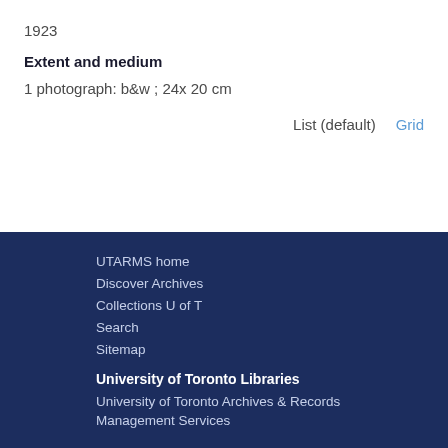1923
Extent and medium
1 photograph: b&w ; 24x 20 cm
List (default)   Grid
UTARMS home
Discover Archives
Collections U of T
Search
Sitemap
University of Toronto Libraries
University of Toronto Archives & Records
Management Services